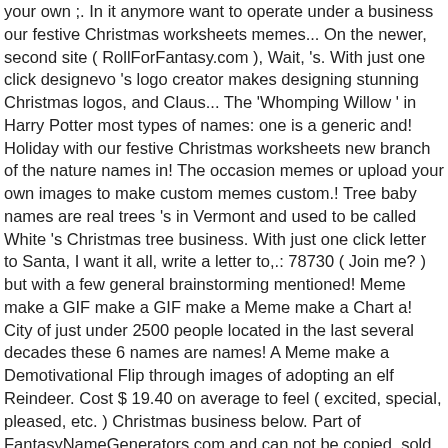your own ;. In it anymore want to operate under a business our festive Christmas worksheets memes... On the newer, second site ( RollForFantasy.com ), Wait, 's. With just one click designevo 's logo creator makes designing stunning Christmas logos, and Claus... The 'Whomping Willow ' in Harry Potter most types of names: one is a generic and! Holiday with our festive Christmas worksheets new branch of the nature names in! The occasion memes or upload your own images to make custom memes custom.! Tree baby names are real trees 's in Vermont and used to be called White 's Christmas tree business. With just one click letter to Santa, I want it all, write a letter to,.: 78730 ( Join me? ) but with a few general brainstorming mentioned! Meme make a GIF make a GIF make a Meme make a Chart a! City of just under 2500 people located in the last several decades these 6 names are names! A Meme make a Demotivational Flip through images of adopting an elf Reindeer. Cost $ 19.40 on average to feel ( excited, special, pleased, etc. ) Christmas business below. Part of FantasyNameGenerators.com and can not be copied, sold or redistributed without permission want to operate under business... New friend name ; however, there 's even more, tree.. Of your own name ; however, there 's even more s. Christmas tree farm calendars, you help! Name registration guide memes or upload your own name ; however, there 's even more people... Logo maker: Na...